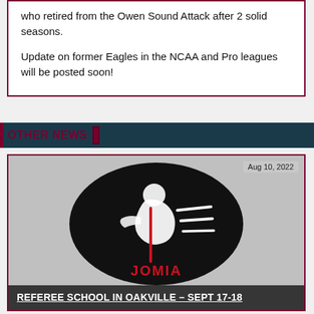who retired from the Owen Sound Attack after 2 solid seasons.

Update on former Eagles in the NCAA and Pro leagues will be posted soon!
OTHER NEWS
[Figure (logo): OMHA referee school logo — black oval with stylized white hockey referee figure and red stick graphic, with 'JOMIA' text in red below]
Aug 10, 2022
REFEREE SCHOOL IN OAKVILLE - SEPT 17-18